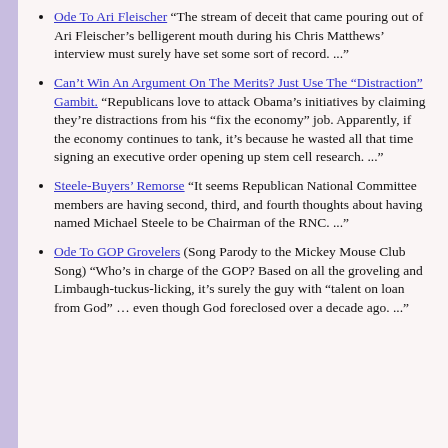Ode To Ari Fleischer “The stream of deceit that came pouring out of Ari Fleischer’s belligerent mouth during his Chris Matthews’ interview must surely have set some sort of record. ...”
Can’t Win An Argument On The Merits? Just Use The “Distraction” Gambit. “Republicans love to attack Obama’s initiatives by claiming they’re distractions from his “fix the economy” job. Apparently, if the economy continues to tank, it’s because he wasted all that time signing an executive order opening up stem cell research. ...”
Steele-Buyers’ Remorse “It seems Republican National Committee members are having second, third, and fourth thoughts about having named Michael Steele to be Chairman of the RNC. ...”
Ode To GOP Grovelers (Song Parody to the Mickey Mouse Club Song) “Who’s in charge of the GOP? Based on all the groveling and Limbaugh-tuckus-licking, it’s surely the guy with “talent on loan from God” … even though God foreclosed over a decade ago. ...”